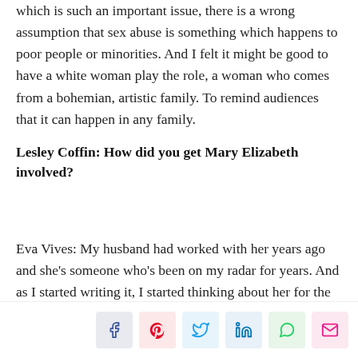which is such an important issue, there is a wrong assumption that sex abuse is something which happens to poor people or minorities. And I felt it might be good to have a white woman play the role, a woman who comes from a bohemian, artistic family. To remind audiences that it can happen in any family.
Lesley Coffin: How did you get Mary Elizabeth involved?
Eva Vives: My husband had worked with her years ago and she's someone who's been on my radar for years. And as I started writing it, I started thinking about her for the role. I did the Sundance labs in 2016, and one of the things you do is readings with professional actors. We did one in LA and the casting director sent her the script. That day she was going to leave to do Fargo and she called to say she loved the script but she